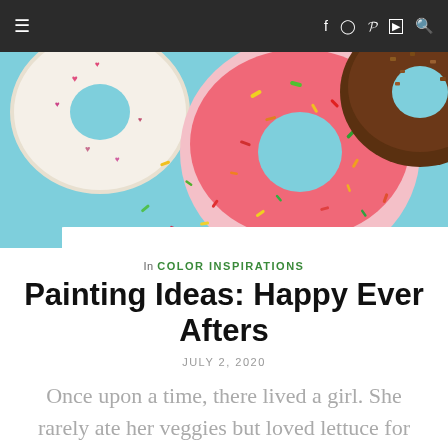≡  f  ⊙  P  ▶  🔍
[Figure (photo): Colorful donuts with sprinkles floating on a light blue background, viewed from above. Visible donuts include a white glazed donut with heart sprinkles, a large pink frosted donut with colorful sprinkles, and a chocolate-covered donut. Sprinkles are scattered throughout.]
In COLOR INSPIRATIONS
Painting Ideas: Happy Ever Afters
JULY 2, 2020
Once upon a time, there lived a girl. She rarely ate her veggies but loved lettuce for